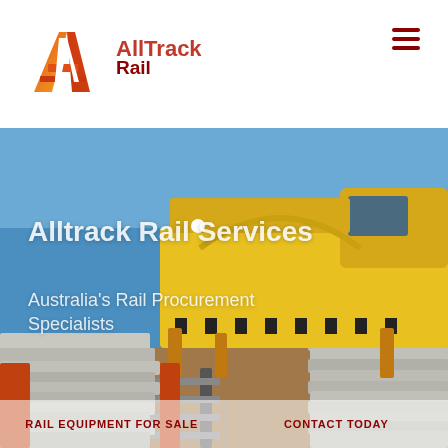[Figure (logo): AllTrack Rail company logo with orange/red stylized A letter mark and text 'AllTrack Rail']
[Figure (photo): Yellow rail maintenance/track laying machine on railway tracks under blue sky, with stacked concrete sleepers/ties visible in foreground and background]
Alltrack Rail Services
Australia's Rail Procurement Specialists
RAIL EQUIPMENT FOR SALE
CONTACT TODAY